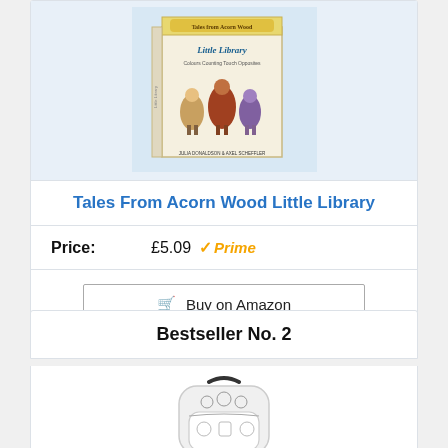[Figure (photo): Tales From Acorn Wood Little Library book box set with colorful characters on front, pale blue background]
Tales From Acorn Wood Little Library
Price: £5.09 ✓Prime
Buy on Amazon
Bestseller No. 2
[Figure (photo): White backpack with illustrated characters, partially visible at bottom of page]